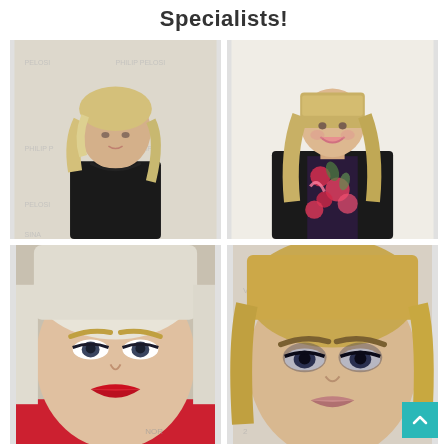Specialists!
[Figure (photo): Woman with short blonde wavy hair wearing a black t-shirt, standing in front of a Philip Pelosi branded backdrop]
[Figure (photo): Woman with long blonde hair wearing a floral dress and black blazer, smiling in front of a white background]
[Figure (photo): Close-up of woman with platinum blonde hair with bangs, wearing dramatic eye makeup with red lips]
[Figure (photo): Close-up of woman with warm blonde hair, wearing dramatic eye makeup, in front of a branded backdrop]